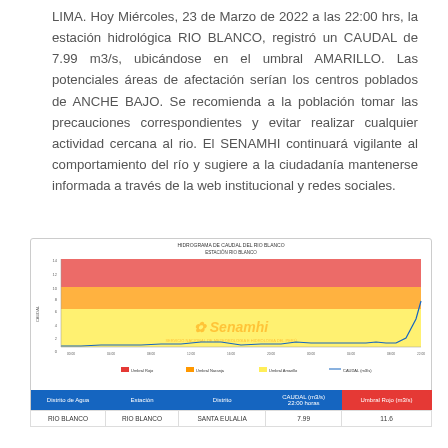LIMA. Hoy Miércoles, 23 de Marzo de 2022 a las 22:00 hrs, la estación hidrológica RIO BLANCO, registró un CAUDAL de 7.99 m3/s, ubicándose en el umbral AMARILLO. Las potenciales áreas de afectación serían los centros poblados de ANCHE BAJO. Se recomienda a la población tomar las precauciones correspondientes y evitar realizar cualquier actividad cercana al rio. El SENAMHI continuará vigilante al comportamiento del río y sugiere a la ciudadanía mantenerse informada a través de la web institucional y redes sociales.
[Figure (continuous-plot): Hydrograph chart showing river flow (caudal) over time at Rio Blanco station. The chart has horizontal colored bands: red (Umbral Rojo - highest), orange (Umbral Naranja), and yellow (Umbral Amarillo). A blue line traces the caudal values, rising sharply at the right end near 7.99 m3/s. The x-axis shows dates/times and the y-axis shows flow values.]
| Distrito de Agua | Estación | Distrito | CAUDAL (m3/s) 22:00 horas | Umbral Rojo (m3/s) |
| --- | --- | --- | --- | --- |
| RIO BLANCO | RIO BLANCO | SANTA EULALIA | 7.99 | 11.6 |